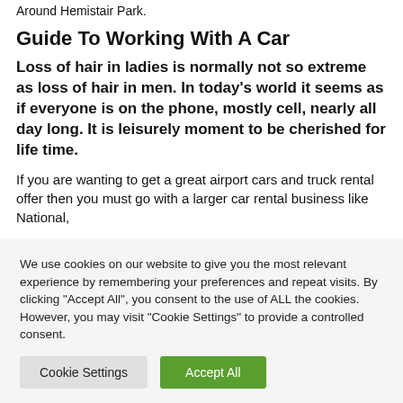Around Hemistair Park.
Guide To Working With A Car
Loss of hair in ladies is normally not so extreme as loss of hair in men. In today's world it seems as if everyone is on the phone, mostly cell, nearly all day long. It is leisurely moment to be cherished for life time.
If you are wanting to get a great airport cars and truck rental offer then you must go with a larger car rental business like National,
We use cookies on our website to give you the most relevant experience by remembering your preferences and repeat visits. By clicking "Accept All", you consent to the use of ALL the cookies. However, you may visit "Cookie Settings" to provide a controlled consent.
Cookie Settings | Accept All